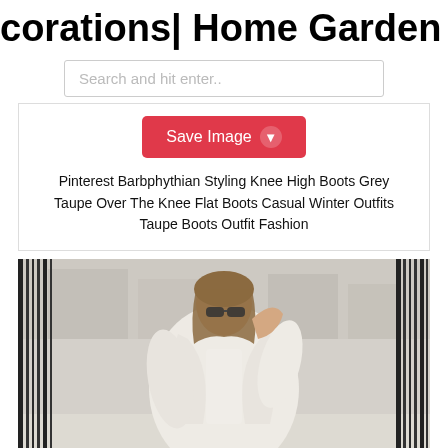corations| Home Garden | Home Fa
Search and hit enter..
Save Image
Pinterest Barbphythian Styling Knee High Boots Grey Taupe Over The Knee Flat Boots Casual Winter Outfits Taupe Boots Outfit Fashion
[Figure (photo): Woman wearing a white/cream oversized coat and sweater, with sunglasses, photographed outdoors on a street with iron fences in the background, winter fashion photo]